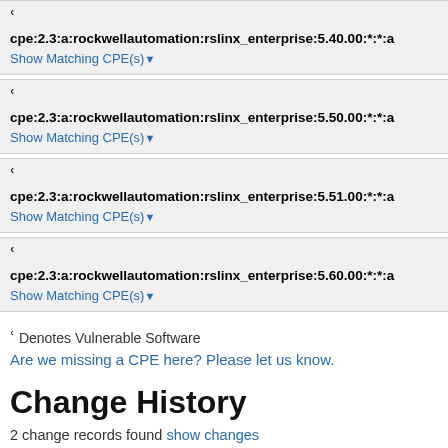cpe:2.3:a:rockwellautomation:rslinx_enterprise:5.40.00:*:*:a
cpe:2.3:a:rockwellautomation:rslinx_enterprise:5.50.00:*:*:a
cpe:2.3:a:rockwellautomation:rslinx_enterprise:5.51.00:*:*:a
cpe:2.3:a:rockwellautomation:rslinx_enterprise:5.60.00:*:*:a
Denotes Vulnerable Software
Are we missing a CPE here? Please let us know.
Change History
2 change records found show changes